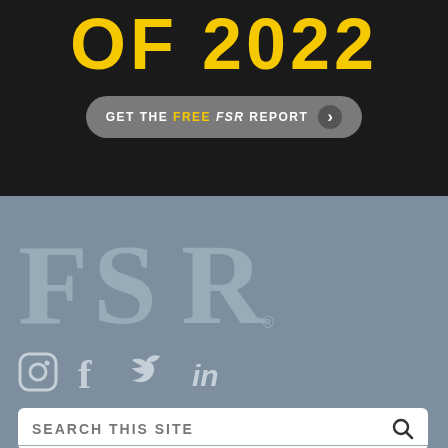OF 2022
GET THE FREE FSR REPORT
[Figure (logo): FSR magazine logo in muted silver/grey on a steel-grey background]
[Figure (infographic): Social media icons: Instagram, Facebook, Twitter, LinkedIn]
SEARCH THIS SITE